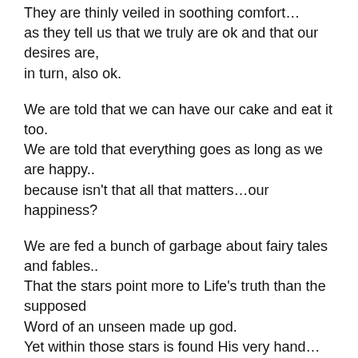They are thinly veiled in soothing comfort… as they tell us that we truly are ok and that our desires are, in turn, also ok.
We are told that we can have our cake and eat it too. We are told that everything goes as long as we are happy.. because isn't that all that matters…our happiness?
We are fed a bunch of garbage about fairy tales and fables.. That the stars point more to Life's truth than the supposed Word of an unseen made up god. Yet within those stars is found His very hand…
His word is mocked and scorned as are those who claim it as their own.